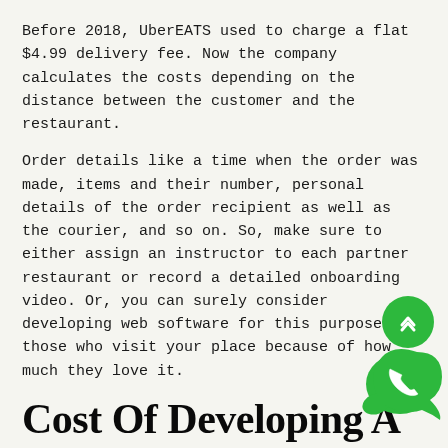Before 2018, UberEATS used to charge a flat $4.99 delivery fee. Now the company calculates the costs depending on the distance between the customer and the restaurant.
Order details like a time when the order was made, items and their number, personal details of the order recipient as well as the courier, and so on. So, make sure to either assign an instructor to each partner restaurant or record a detailed onboarding video. Or, you can surely consider developing web software for this purpose. Or those who visit your place because of how much they love it.
Cost Of Developing A Food Delivery Mobile App
They take orders online, prepare food, and ship it to the